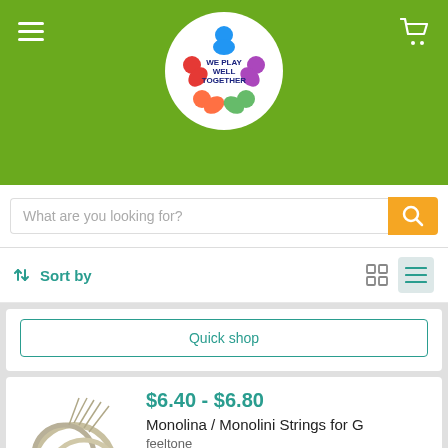[Figure (logo): We Play Well Together logo — colorful figures in a circle on white background]
What are you looking for?
↓↑ Sort by
Quick shop
$6.40 - $6.80
Monolina / Monolini Strings for G
feeltone
No reviews
Quick shop